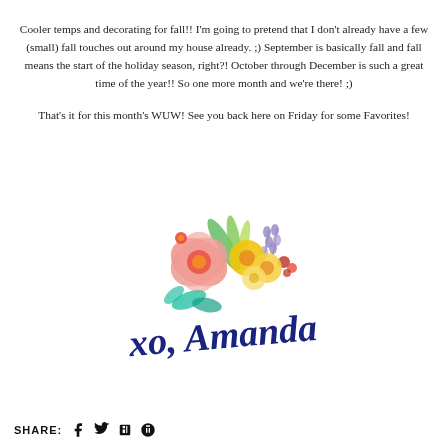Cooler temps and decorating for fall!!  I'm going to pretend that I don't already have a few (small) fall touches out around my house already. ;)  September is basically fall and fall means the start of the holiday season, right?!  October through December is such a great time of the year!!  So one more month and we're there! ;)
That's it for this month's WUW!  See you back here on Friday for some Favorites!
[Figure (illustration): A watercolor floral arrangement with pink, yellow, and purple flowers and green leaves, with a navy blue cursive signature reading 'xo, Amanda']
SHARE: